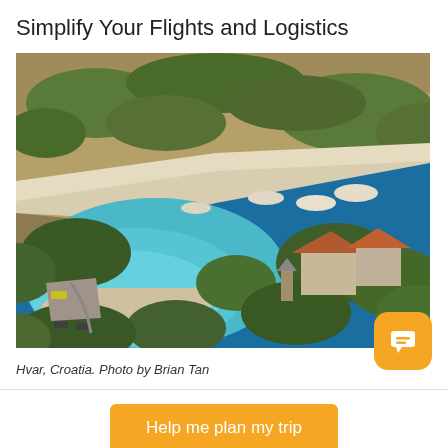Simplify Your Flights and Logistics
[Figure (photo): Aerial view of a cove in Hvar, Croatia. Turquoise water, rocky hillside with green shrubs, a crescent-shaped beach, and stone buildings with orange-red roofs visible.]
Hvar, Croatia. Photo by Brian Tan
Help me plan my trip